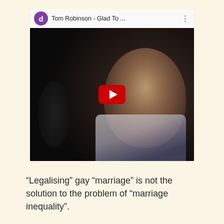[Figure (screenshot): A YouTube video thumbnail showing a man performing, with title 'Tom Robinson - Glad To ...' and a YouTube play button overlay. The avatar shows a purple circle with letter 'd'.]
“Legalising” gay “marriage” is not the solution to the problem of “marriage inequality”.